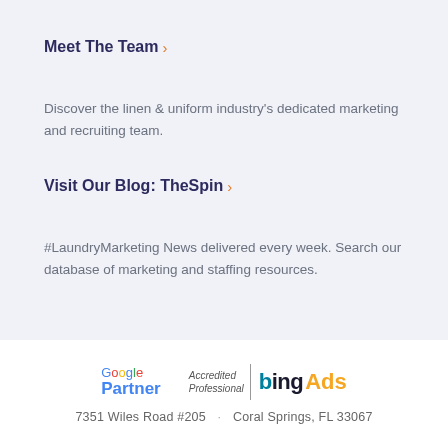Meet The Team ›
Discover the linen & uniform industry's dedicated marketing and recruiting team.
Visit Our Blog: TheSpin ›
#LaundryMarketing News delivered every week. Search our database of marketing and staffing resources.
[Figure (logo): Google Partner and Bing Ads Accredited Professional logos side by side]
7351 Wiles Road #205  ·  Coral Springs, FL 33067